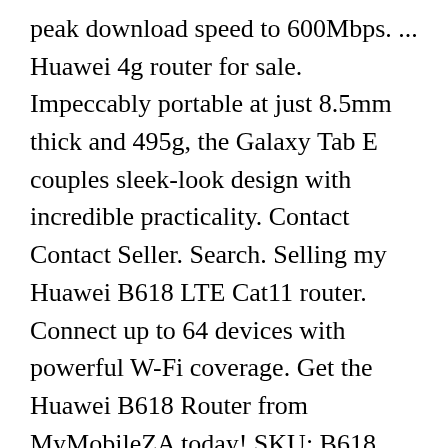peak download speed to 600Mbps. ... Huawei 4g router for sale. Impeccably portable at just 8.5mm thick and 495g, the Galaxy Tab E couples sleek-look design with incredible practicality. Contact Contact Seller. Search. Selling my Huawei B618 LTE Cat11 router. Connect up to 64 devices with powerful W-Fi coverage. Get the Huawei B618 Router from MyMobileZA today! SKU: B618 Category: 3G/4G Modem/Routers Tag: G02. Description; Reviews (0) Description. Other people marked this product with these tags: 4G Mobile Broadband Shopping Mall (www.4gltemall.com)@2010-2017. 17 Review(s) Up to 64 wireless devices could connect to Huawei B618. ... EUR 12.13 postage. Huawei